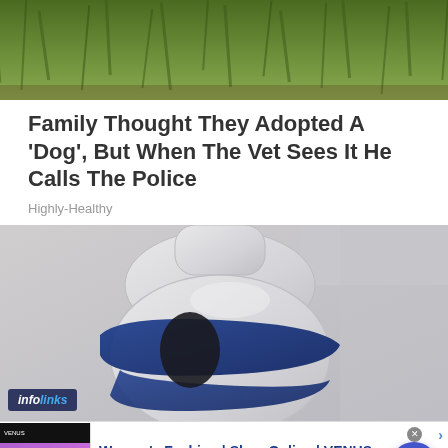[Figure (photo): Green grass/vegetation photo at top of page]
Family Thought They Adopted A 'Dog', But When The Vet Sees It He Calls The Police
Highly-Healthy
[Figure (photo): Close-up photo of a white and blue security camera or similar device mounted to a wall, viewed from below]
Women's Fashion | Shop Online | VENUS
Shop the best in women's fashion, clothing, swimwear
venus.com